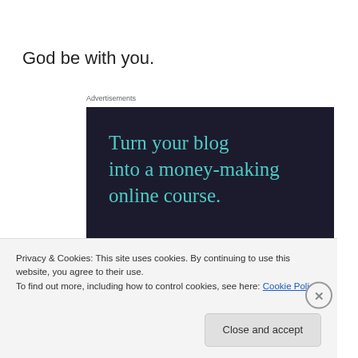God be with you.
Advertisements
[Figure (illustration): Dark navy advertisement banner with teal serif text reading 'Turn your blog into a money-making online course.' and a teal rounded 'Learn More' button.]
Privacy & Cookies: This site uses cookies. By continuing to use this website, you agree to their use.
To find out more, including how to control cookies, see here: Cookie Policy